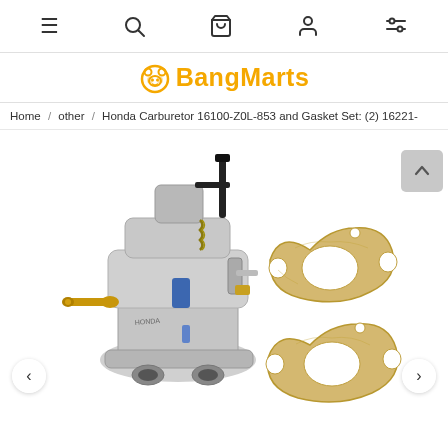Navigation bar with menu, search, cart, account, and filter icons
BangMarts
Home / other / Honda Carburetor 16100-Z0L-853 and Gasket Set: (2) 16221-
[Figure (photo): Honda carburetor part 16100-Z0L-853 (silver metal carburetor with black choke lever, golden brass fuel fitting, blue accents) shown on the left, and two tan/beige gaskets shown on the right side of the image. Carousel navigation arrows visible at the bottom left and right. A back-to-top button visible at upper right.]